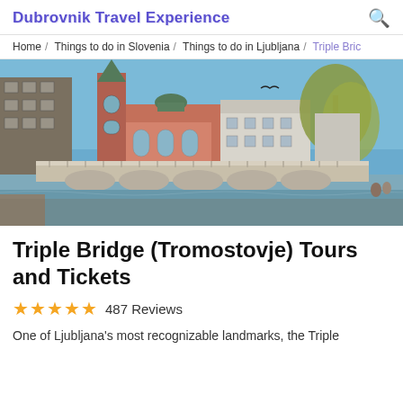Dubrovnik Travel Experience
Home / Things to do in Slovenia / Things to do in Ljubljana / Triple Bric
[Figure (photo): Photo of Triple Bridge (Tromostovje) in Ljubljana, Slovenia, showing the three arched bridges over the Ljubljanica river with the pink Franciscan Church of the Annunciation and historic buildings in the background under a clear blue sky.]
Triple Bridge (Tromostovje) Tours and Tickets
487 Reviews
One of Ljubljana's most recognizable landmarks, the Triple